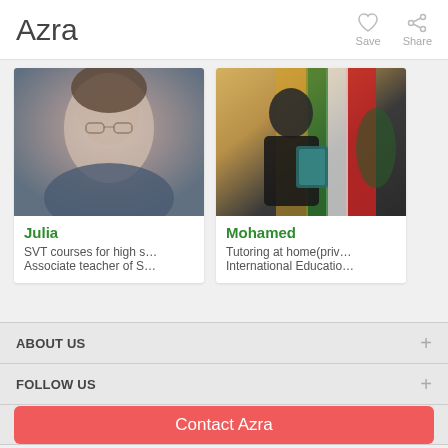Azra
[Figure (screenshot): Heart/Save icon and Share icon in app header]
[Figure (photo): Julia - partial face photo, blurred, woman with glasses]
Julia
SVT courses for high s…
Associate teacher of S…
[Figure (photo): Mohamed - man holding certificate with flags in background]
Mohamed
Tutoring at home(priv…
International Educatio…
ABOUT US
FOLLOW US
INVITE YOUR FRIENDS
Contact Azra